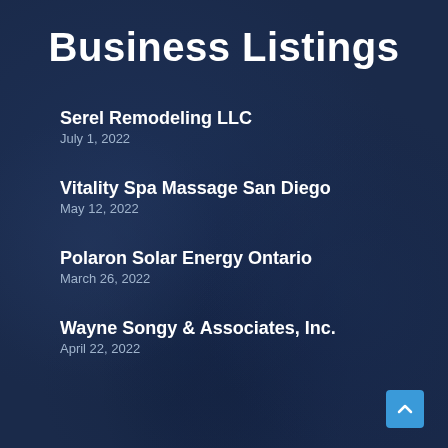Business Listings
Serel Remodeling LLC
July 1, 2022
Vitality Spa Massage San Diego
May 12, 2022
Polaron Solar Energy Ontario
March 26, 2022
Wayne Songy & Associates, Inc.
April 22, 2022